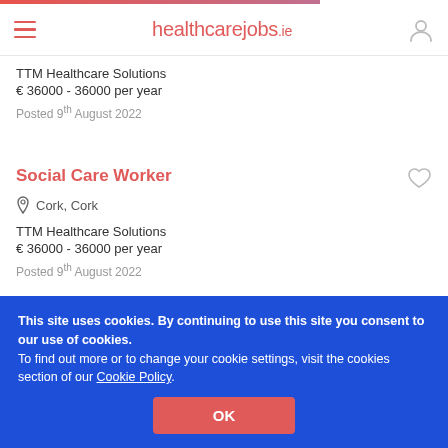healthcarejobs.ie
TTM Healthcare Solutions
€ 36000 - 36000 per year
Posted 9th August 2022
Social Care Worker
Cork, Cork
TTM Healthcare Solutions
€ 36000 - 36000 per year
Posted 9th August 2022
This site uses cookies. By continuing to use this site you consent to our use of cookies.
To find out more or to change your cookie settings, visit the cookies section of our Cookie Policy.